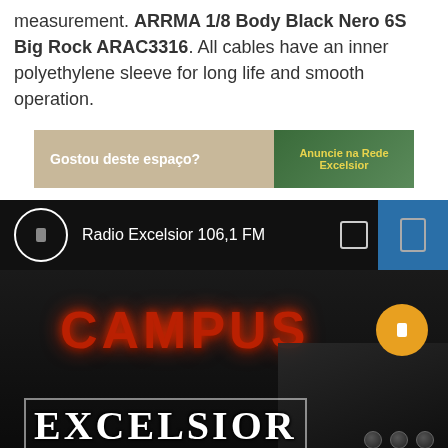measurement. ARRMA 1/8 Body Black Nero 6S Big Rock ARAC3316. All cables have an inner polyethylene sleeve for long life and smooth operation.
[Figure (infographic): Advertisement banner: 'Gostou deste espaço? Anuncie na Rede Excelsior']
[Figure (screenshot): Radio Excelsior 106,1 FM player bar with circle icon, playback controls, and blue menu box]
[Figure (photo): Dark photo showing 'CAMPUS' in red glowing letters and 'EXCELSIOR' text overlay at bottom, with DJ equipment visible on the right, and an orange play button]